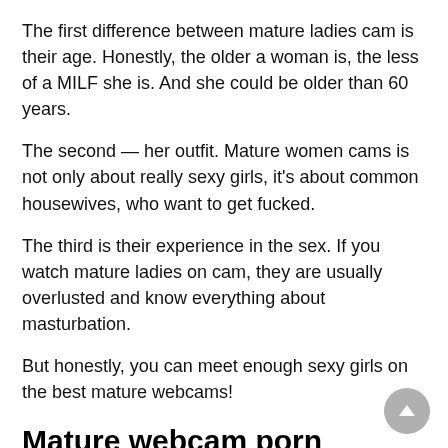The first difference between mature ladies cam is their age. Honestly, the older a woman is, the less of a MILF she is. And she could be older than 60 years.
The second — her outfit. Mature women cams is not only about really sexy girls, it's about common housewives, who want to get fucked.
The third is their experience in the sex. If you watch mature ladies on cam, they are usually overlusted and know everything about masturbation.
But honestly, you can meet enough sexy girls on the best mature webcams!
Mature webcam porn features
Ok, we're done with talking about the advantages of mature cams and ready to move to the main catch — interaction!